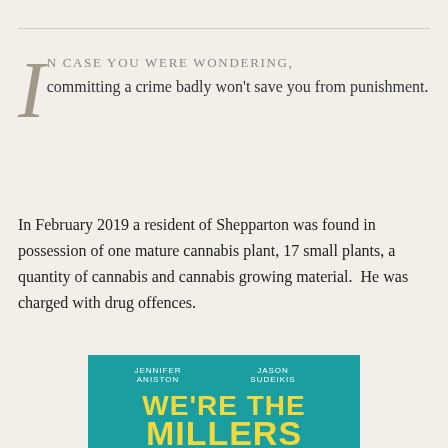IN CASE YOU WERE WONDERING, committing a crime badly won't save you from punishment.
In February 2019 a resident of Shepparton was found in possession of one mature cannabis plant, 17 small plants, a quantity of cannabis and cannabis growing material.  He was charged with drug offences.
[Figure (illustration): Movie poster for 'We're the Millers' featuring Jennifer Aniston and Jason Sudeikis. Teal/cyan background with large yellow bold text reading 'WE'RE THE MILLERS'.]